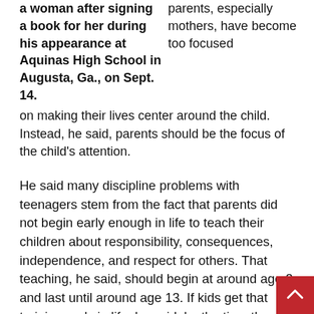a woman after signing a book for her during his appearance at Aquinas High School in Augusta, Ga., on Sept. 14. parents, especially mothers, have become too focused on making their lives center around the child. Instead, he said, parents should be the focus of the child's attention.
He said many discipline problems with teenagers stem from the fact that parents did not begin early enough in life to teach their children about responsibility, consequences, independence, and respect for others. That teaching, he said, should begin at around age 3 and last until around age 13. If kids get that training early in life, he said, by the time they are teenagers they are prepared for gaining more freedom while at the same time having a respect for family rules and values.
The lack of helping children to mature, he said, is leading more kids to begin school who are still exhibiting classic toddler behaviors such as temper tantrums, extreme mood swings and defiance. If not corrected, this behavior leads to impulsive, defiant teenagers who can do harm to both themselves and